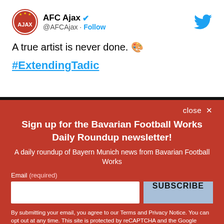[Figure (screenshot): Tweet from AFC Ajax account showing the text 'A true artist is never done. 🎨' and hashtag '#ExtendingTadic']
close ✕
Sign up for the Bavarian Football Works Daily Roundup newsletter!
A daily roundup of Bayern Munich news from Bavarian Football Works
Email (required)
SUBSCRIBE
By submitting your email, you agree to our Terms and Privacy Notice. You can opt out at any time. This site is protected by reCAPTCHA and the Google Privacy Policy and Terms of Service apply.